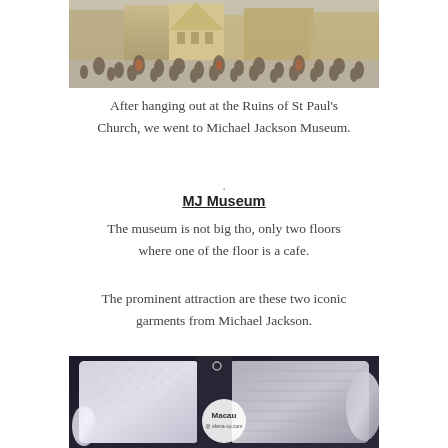[Figure (photo): Outdoor crowd scene at Ruins of St Paul's Church in Macau, with many tourists walking around a historical square.]
After hanging out at the Ruins of St Paul's Church, we went to Michael Jackson Museum.
.
MJ Museum
The museum is not big tho, only two floors where one of the floor is a cafe.
The prominent attraction are these two iconic garments from Michael Jackson.
[Figure (photo): Close-up photo of two iconic Michael Jackson garments — a sparkly white sequined jacket and a silver metallic jacket — displayed in a museum. A circular Macau watermark is visible on the image.]